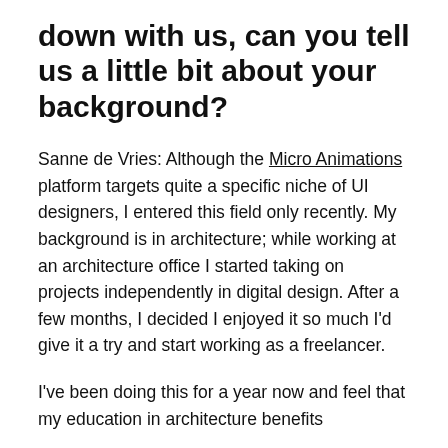down with us, can you tell us a little bit about your background?
Sanne de Vries: Although the Micro Animations platform targets quite a specific niche of UI designers, I entered this field only recently. My background is in architecture; while working at an architecture office I started taking on projects independently in digital design. After a few months, I decided I enjoyed it so much I'd give it a try and start working as a freelancer.
I've been doing this for a year now and feel that my education in architecture benefits